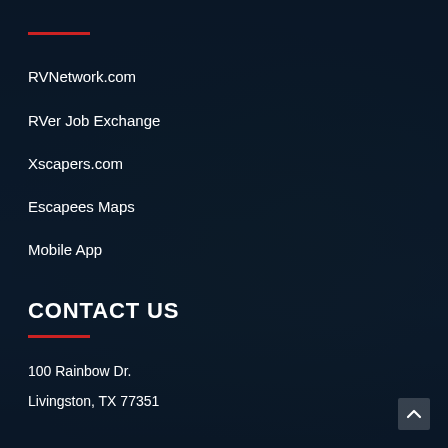[Figure (photo): Dark nighttime aerial photo of an RV park with many RVs and motorhomes parked in rows, trees visible in background, heavily darkened with overlay]
RVNetwork.com
RVer Job Exchange
Xscapers.com
Escapees Maps
Mobile App
CONTACT US
100 Rainbow Dr.
Livingston, TX 77351